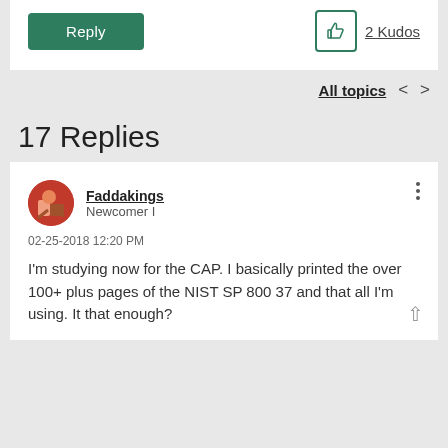[Figure (screenshot): Reply button (green) and 2 Kudos button with thumbs-up icon]
All topics < >
17 Replies
Faddakings
Newcomer I
02-25-2018 12:20 PM
I'm studying now for the CAP. I basically printed the over 100+ plus pages of the NIST SP 800 37 and that all I'm using. It that enough?